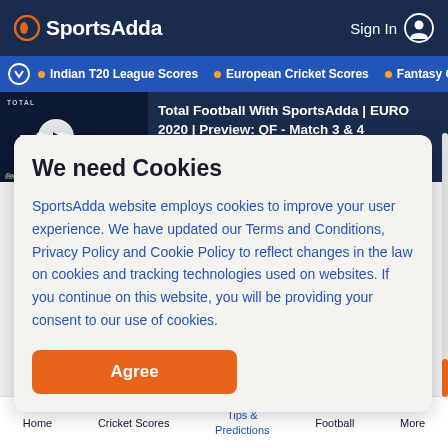SportsAdda  Sign In
Indian T20 League Scores  European Cricket Scores  Fantasy C
[Figure (screenshot): Total Football With SportsAdda article thumbnail with play button]
Total Football With SportsAdda | EURO 2020 | Preview: QF - Match 3 & 4
We need Cookies
SportsAdda website employs cookies to improve your user experience. We have updated our Terms and Conditions, Privacy Policy and Cookie Policy to reflect changes in the law on cookies and tracking technologies used on websites. If you continue on this website, you will be providing your consent to our use of cookies.
Agree
Home  Cricket Scores  Tips & Predictions  Football  More